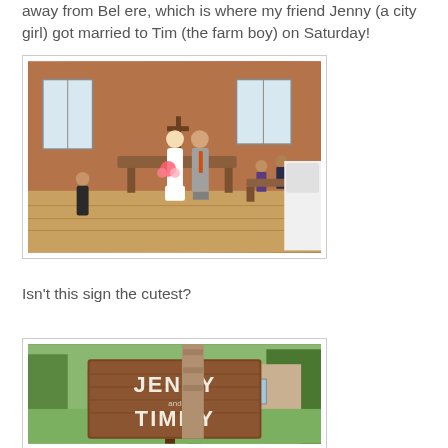away from Bel ere, which is where my friend Jenny (a city girl) got married to Tim (the farm boy) on Saturday!
[Figure (photo): Wedding photo inside a brick church with wooden floors. Bride in white dress and groom in grey suit standing together at the altar area. A cellist is visible in the background on the left.]
Isn't this sign the cutest?
[Figure (photo): Outdoor wooden sign reading 'JENNY and TIMMY' in white painted letters, set against a green park background with trees and a brick building.]